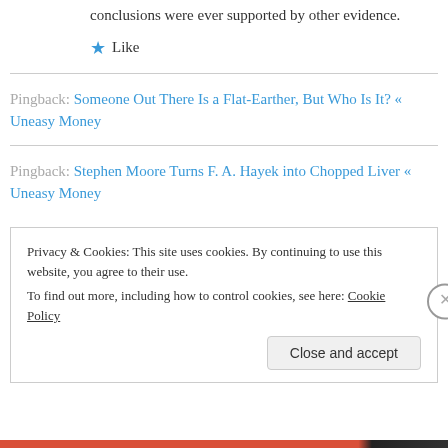conclusions were ever supported by other evidence.
★ Like
Pingback: Someone Out There Is a Flat-Earther, But Who Is It? « Uneasy Money
Pingback: Stephen Moore Turns F. A. Hayek into Chopped Liver « Uneasy Money
Privacy & Cookies: This site uses cookies. By continuing to use this website, you agree to their use. To find out more, including how to control cookies, see here: Cookie Policy
Close and accept